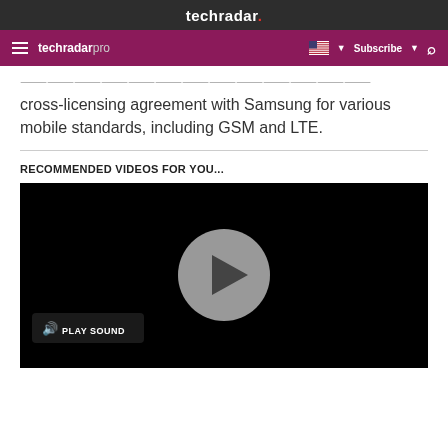techradar.
techradar pro  Subscribe
cross-licensing agreement with Samsung for various mobile standards, including GSM and LTE.
RECOMMENDED VIDEOS FOR YOU...
[Figure (screenshot): Video player with black background, a circular gray play button in the center, and a 'PLAY SOUND' button with speaker icon in the lower left.]